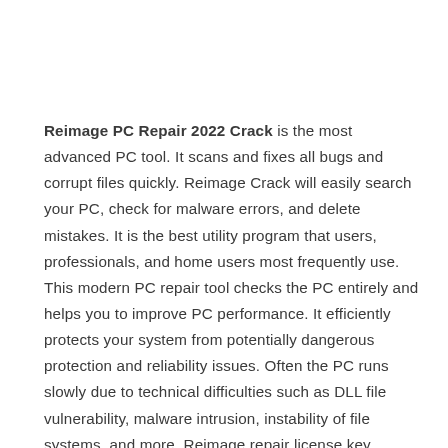Reimage PC Repair 2022 Crack is the most advanced PC tool. It scans and fixes all bugs and corrupt files quickly. Reimage Crack will easily search your PC, check for malware errors, and delete mistakes. It is the best utility program that users, professionals, and home users most frequently use. This modern PC repair tool checks the PC entirely and helps you to improve PC performance. It efficiently protects your system from potentially dangerous protection and reliability issues. Often the PC runs slowly due to technical difficulties such as DLL file vulnerability, malware intrusion, instability of file systems, and more. Reimage repair license key provides the best security. Reimage PC Repair is the perfect computer program. After resolving all PC issues, the good built-in …